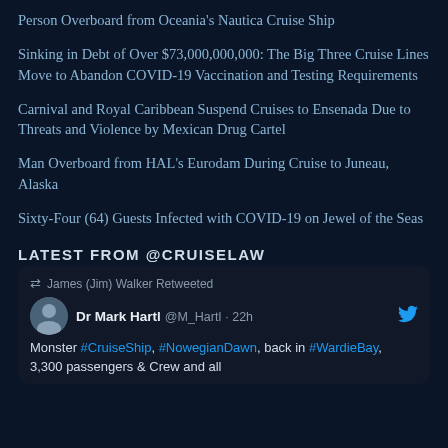Person Overboard from Oceania's Nautica Cruise Ship
Sinking in Debt of Over $73,000,000,000: The Big Three Cruise Lines Move to Abandon COVID-19 Vaccination and Testing Requirements
Carnival and Royal Caribbean Suspend Cruises to Ensenada Due to Threats and Violence by Mexican Drug Cartel
Man Overboard from HAL's Eurodam During Cruise to Juneau, Alaska
Sixty-Four (64) Guests Infected with COVID-19 on Jewel of the Seas
LATEST FROM @CRUISELAW
James (Jim) Walker Retweeted
Dr Mark Hartl @M_Hartl · 22h
Monster #CruiseShip, #NowegianDawn, back in #WardieBay, 3,300 passengers & Crew and all